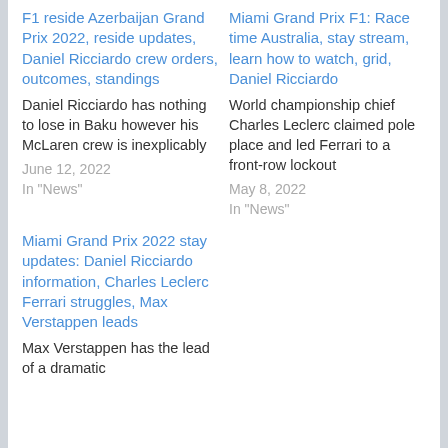F1 reside Azerbaijan Grand Prix 2022, reside updates, Daniel Ricciardo crew orders, outcomes, standings
Daniel Ricciardo has nothing to lose in Baku however his McLaren crew is inexplicably
June 12, 2022
In "News"
Miami Grand Prix F1: Race time Australia, stay stream, learn how to watch, grid, Daniel Ricciardo
World championship chief Charles Leclerc claimed pole place and led Ferrari to a front-row lockout
May 8, 2022
In "News"
Miami Grand Prix 2022 stay updates: Daniel Ricciardo information, Charles Leclerc Ferrari struggles, Max Verstappen leads
Max Verstappen has the lead of a dramatic